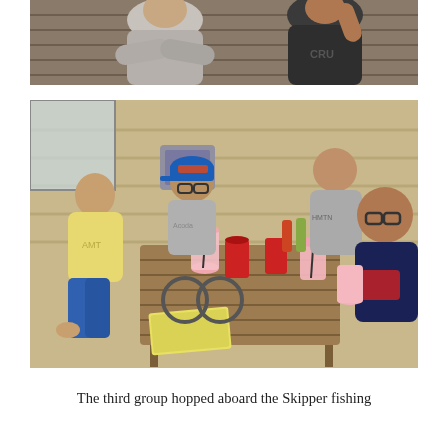[Figure (photo): Partial photo showing two young men in sweatshirts, one gray and one dark, cropped at the top of the page.]
[Figure (photo): Four young men sitting around a wooden outdoor table on a deck, with drinks including pink smoothies and red cups on the table. One wears a blue NY Mets cap and glasses, another is in a yellow shirt, one in a gray shirt, and one in a dark navy shirt with glasses. They are smiling.]
The third group hopped aboard the Skipper fishing